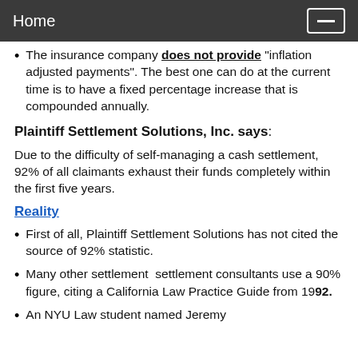Home
The insurance company does not provide "inflation adjusted payments". The best one can do at the current time is to have a fixed percentage increase that is compounded annually.
Plaintiff Settlement Solutions, Inc. says:
Due to the difficulty of self-managing a cash settlement, 92% of all claimants exhaust their funds completely within the first five years.
Reality
First of all, Plaintiff Settlement Solutions has not cited the source of 92% statistic.
Many other settlement  settlement consultants use a 90% figure, citing a California Law Practice Guide from 1992.
An NYU Law student named Jeremy